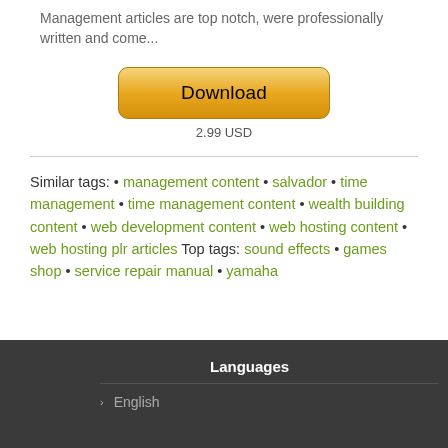Management articles are top notch, were professionally written and come...
[Figure (other): Download button with gradient gold/yellow styling]
2.99 USD
Similar tags: • management content • salvador • time management • time management content • wealth building content • web development content • web hosting content • web hosting plr articles Top tags: sound effects • games shop • service repair manual • yamaha
Languages
English